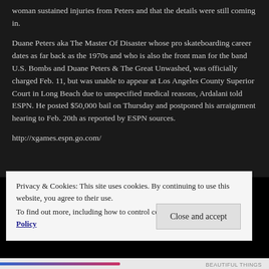woman sustained injuries from Peters and that the details were still coming in.
Duane Peters aka The Master Of Disaster whose pro skateboarding career dates as far back as the 1970s and who is also the front man for the band U.S. Bombs and Duane Peters & The Great Unwashed, was officially charged Feb. 11, but was unable to appear at Los Angeles County Superior Court in Long Beach due to unspecified medical reasons, Ardalani told ESPN. He posted $50,000 bail on Thursday and postponed his arraignment hearing to Feb. 20th as reported by ESPN sources.
http://xgames.espn.go.com/
Privacy & Cookies: This site uses cookies. By continuing to use this website, you agree to their use.
To find out more, including how to control cookies, see here: Cookie Policy